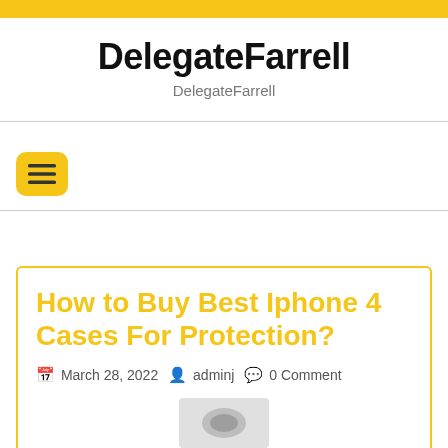DelegateFarrell
DelegateFarrell
DelegateFarrell
[Figure (other): Hamburger menu button with yellow rounded square background]
How to Buy Best Iphone 4 Cases For Protection?
March 28, 2022  adminj  0 Comment
[Figure (photo): Partial image of phone cases at the bottom of the article card]